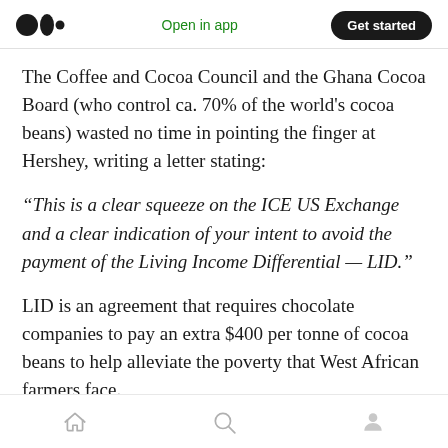Medium app header: logo, Open in app, Get started
The Coffee and Cocoa Council and the Ghana Cocoa Board (who control ca. 70% of the world's cocoa beans) wasted no time in pointing the finger at Hershey, writing a letter stating:
“This is a clear squeeze on the ICE US Exchange and a clear indication of your intent to avoid the payment of the Living Income Differential — LID.”
LID is an agreement that requires chocolate companies to pay an extra $400 per tonne of cocoa beans to help alleviate the poverty that West African farmers face.
Bottom navigation: home, search, profile